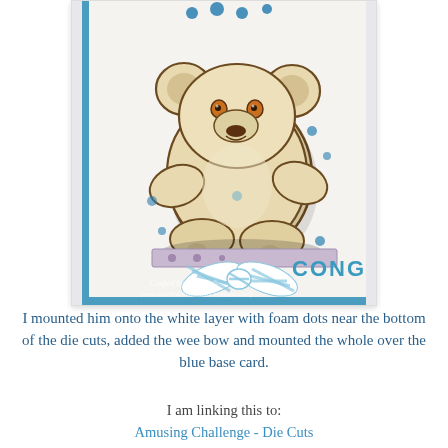[Figure (photo): A handmade greeting card featuring a stamped/die-cut teddy bear illustration in brown tones on white card stock, with blue polka dots at the top, a blue and white striped ribbon bow at the bottom, text reading 'CONG' (partially visible, likely 'CONGRATULATIONS') in teal/blue, and a watermark reading 'Crafted by Maxine' and website URL. The card has a blue border and the bear has button-dot accents.]
I mounted him onto the white layer with foam dots near the bottom of the die cuts, added the wee bow and mounted the whole over the blue base card.
I am linking this to:
Amusing Challenge - Die Cuts